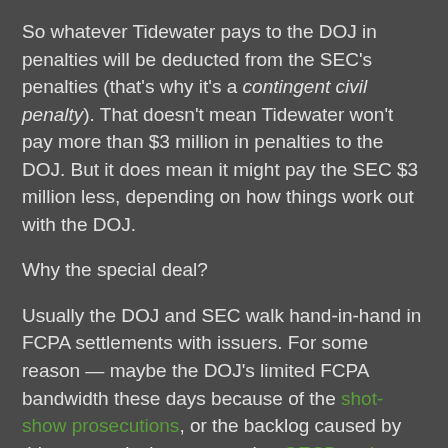So whatever Tidewater pays to the DOJ in penalties will be deducted from the SEC's penalties (that's why it's a contingent civil penalty). That doesn't mean Tidewater won't pay more than $3 million in penalties to the DOJ. But it does mean it might pay the SEC $3 million less, depending on how things work out with the DOJ.
Why the special deal?
Usually the DOJ and SEC walk hand-in-hand in FCPA settlements with issuers. For some reason — maybe the DOJ's limited FCPA bandwidth these days because of the shot-show prosecutions, or the backlog caused by this summer's time-consuming OECD review — the SEC has taken the lead with Tidewater while the DOJ, according to the company's disclosure, isn't yet ready to settle. But clearly Tidewater wants the SEC issue resolved